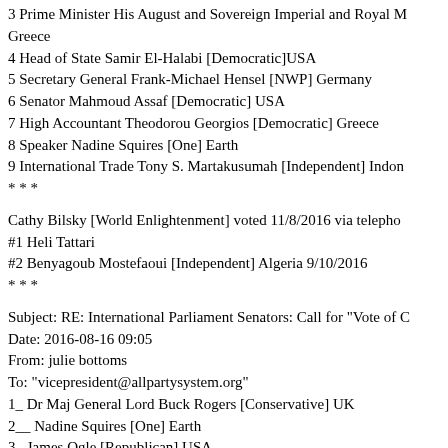3 Prime Minister His August and Sovereign Imperial and Royal M... Greece
4 Head of State Samir El-Halabi [Democratic]USA
5 Secretary General Frank-Michael Hensel [NWP] Germany
6 Senator Mahmoud Assaf [Democratic] USA
7 High Accountant Theodorou Georgios [Democratic] Greece
8 Speaker Nadine Squires [One] Earth
9 International Trade Tony S. Martakusumah [Independent] Indon...
* * *
Cathy Bilsky [World Enlightenment] voted 11/8/2016 via telepho...
#1 Heli Tattari
#2 Benyagoub Mostefaoui [Independent] Algeria 9/10/2016
* * *
Subject: RE: International Parliament Senators: Call for "Vote of C...
Date: 2016-08-16 09:05
From: julie bottoms
To: "vicepresident@allpartysystem.org"
1_ Dr Maj General Lord Buck Rogers [Conservative] UK
2__ Nadine Squires [One] Earth
3_ James Ogle [Republican] USA
4__ Tony S. Martakusumah [Independent] Malaysia
5_ His August and Sovereign Imperial and Royal Majesty Empero...
6 Samir El Halabi [Democratic] USA
7_ Khadim Dahet [Independent]